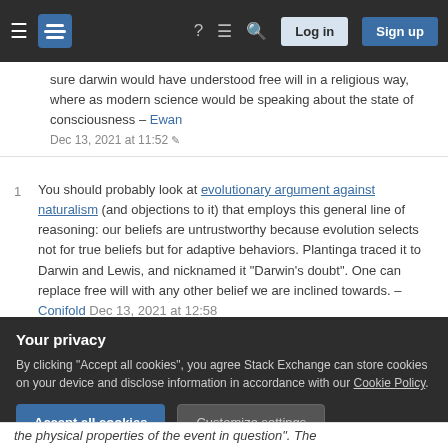Stack Exchange navigation bar with logo, help, questions, search, Log in, Sign up buttons
sure darwin would have understood free will in a religious way, where as modern science would be speaking about the state of consciousness – Ewan Dec 13, 2021 at 11:52
1 You should probably look at evolutionary argument against naturalism (and objections to it) that employs this general line of reasoning: our beliefs are untrustworthy because evolution selects not for true beliefs but for adaptive behaviors. Plantinga traced it to Darwin and Lewis, and nicknamed it "Darwin's doubt". One can replace free will with any other belief we are inclined towards. – Conifold Dec 13, 2021 at 12:58
Your privacy
By clicking "Accept all cookies", you agree Stack Exchange can store cookies on your device and disclose information in accordance with our Cookie Policy.
the physical properties of the event in question". The